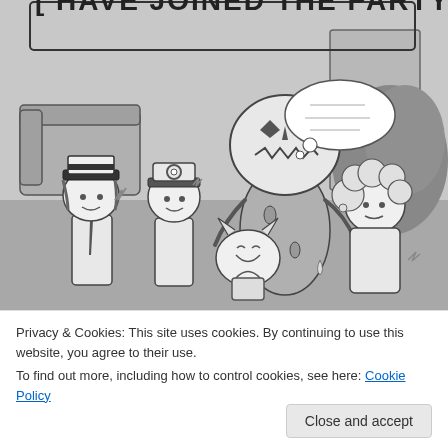[Figure (illustration): Black and white manga/comic style illustration showing characters that have joined a party. A banner at the top reads '[HAVE JOINED THE PARTY]'. The scene shows anime-style characters in a room: a tall monster-like figure wearing a pumpkin head costume, two characters wearing hats (one with a pokeball cap), a small round character, and a girl with curly hair. The scene is drawn in a simple monochrome style with gray background.]
Privacy & Cookies: This site uses cookies. By continuing to use this website, you agree to their use.
To find out more, including how to control cookies, see here: Cookie Policy
Close and accept